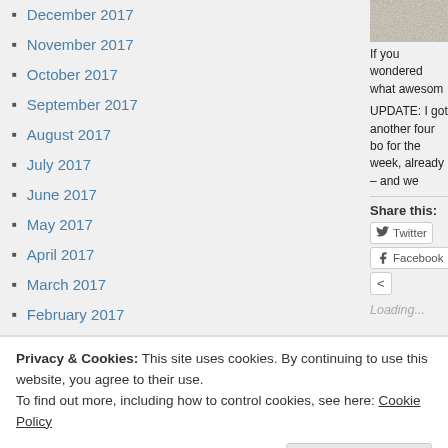December 2017
November 2017
October 2017
September 2017
August 2017
July 2017
June 2017
May 2017
April 2017
March 2017
February 2017
January 2017
December 2016
November 2016
October 2016
September 2016
[Figure (photo): Partial photo, sandy/stone texture]
If you wondered what awesom
UPDATE: I got another four bo for the week, already – and we
Share this:
Twitter Facebook <
Loading...
Wipeout!  Cycling on WetTrain with
February 2016
Privacy & Cookies: This site uses cookies. By continuing to use this website, you agree to their use.
To find out more, including how to control cookies, see here: Cookie Policy
Close and accept